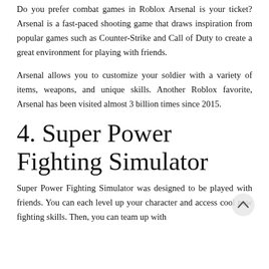Do you prefer combat games in Roblox Arsenal is your ticket? Arsenal is a fast-paced shooting game that draws inspiration from popular games such as Counter-Strike and Call of Duty to create a great environment for playing with friends.
Arsenal allows you to customize your soldier with a variety of items, weapons, and unique skills. Another Roblox favorite, Arsenal has been visited almost 3 billion times since 2015.
4. Super Power Fighting Simulator
Super Power Fighting Simulator was designed to be played with friends. You can each level up your character and access cool new fighting skills. Then, you can team up with